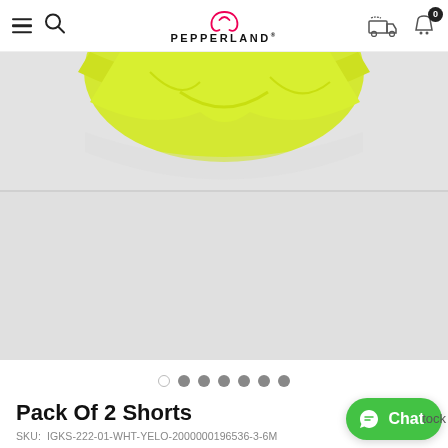Pepperland — navigation header
[Figure (photo): Yellow children's shorts on light grey background, product image cropped at top]
[Figure (other): Image carousel dots: 1 empty circle followed by 6 filled grey circles]
Pack Of 2 Shorts
SKU:  IGKS-222-01-WHT-YELO-2000000196536-3-6M
PKR 900
PKR 1,700